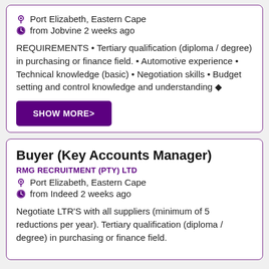Port Elizabeth, Eastern Cape
from Jobvine 2 weeks ago
REQUIREMENTS • Tertiary qualification (diploma / degree) in purchasing or finance field. • Automotive experience • Technical knowledge (basic) • Negotiation skills • Budget setting and control knowledge and understanding ?
SHOW MORE>
Buyer (Key Accounts Manager)
RMG RECRUITMENT (PTY) LTD
Port Elizabeth, Eastern Cape
from Indeed 2 weeks ago
Negotiate LTR'S with all suppliers (minimum of 5 reductions per year). Tertiary qualification (diploma / degree) in purchasing or finance field.